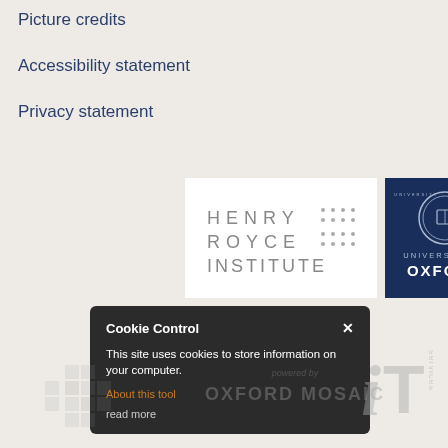Picture credits
Accessibility statement
Privacy statement
[Figure (logo): Henry Royce Institute logo — white background with grey spaced text and dot grid pattern]
[Figure (logo): University of Oxford logo — dark navy blue background with circular crest and 'UNIVERSITY OF OXFORD' text]
[Figure (screenshot): Cookie Control popup overlay — dark background, title 'Cookie Control' with X close button, text 'This site uses cookies to store information on your computer.', 'About this tool' link in orange, 'read more' button]
[Figure (logo): Oxford Mosaic watermark logo at bottom — grey 'powered by' text and 'OXFORD MOSAIC' text]
[Figure (logo): iT Services logo at bottom right — grey italic i and T with 'services' rotated text]